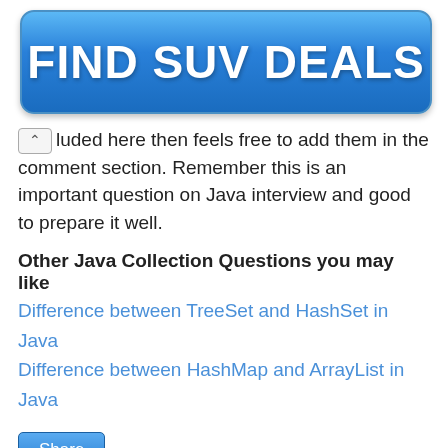[Figure (other): Blue button advertisement banner with text FIND SUV DEALS]
luded here then feels free to add them in the comment section. Remember this is an important question on Java interview and good to prepare it well.
Other Java Collection Questions you may like
Difference between TreeSet and HashSet in Java
Difference between HashMap and ArrayList in Java
[Figure (other): Share button]
28 comments:
Purush  November 23, 2012 at 2:28 AM